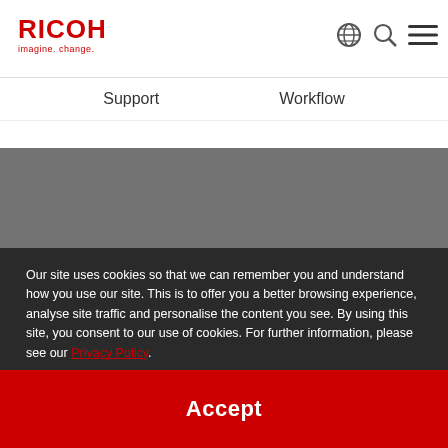[Figure (logo): RICOH logo with 'imagine. change.' tagline in red]
[Figure (other): Navigation icons: globe, search, hamburger menu]
Support
Workflow
[Figure (other): Gray background section with red search/document icon]
Our site uses cookies so that we can remember you and understand how you use our site. This is to offer you a better browsing experience, analyse site traffic and personalise the content you see. By using this site, you consent to our use of cookies. For further information, please see our Privacy Policy.
Accept